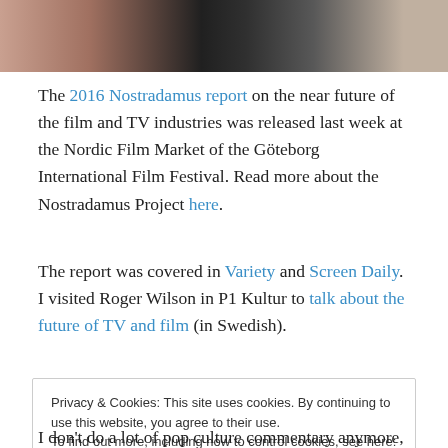[Figure (photo): Top portion of a photo showing people at what appears to be a panel or table, partially cropped]
The 2016 Nostradamus report on the near future of the film and TV industries was released last week at the Nordic Film Market of the Göteborg International Film Festival. Read more about the Nostradamus Project here.
The report was covered in Variety and Screen Daily. I visited Roger Wilson in P1 Kultur to talk about the future of TV and film (in Swedish).
Privacy & Cookies: This site uses cookies. By continuing to use this website, you agree to their use. To find out more, including how to control cookies, see here: Cookie Policy
I don't do a lot of pop culture commentary anymore, but